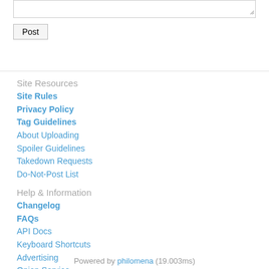[Figure (other): Text input area (textarea) with resize handle]
Post (button)
Site Resources
Site Rules
Privacy Policy
Tag Guidelines
About Uploading
Spoiler Guidelines
Takedown Requests
Do-Not-Post List
Help & Information
Changelog
FAQs
API Docs
Keyboard Shortcuts
Advertising
Onion Service
Community
Contact
Donations
Site Staff List
Statistics
About
Twitter
Powered by philomena (19.003ms)